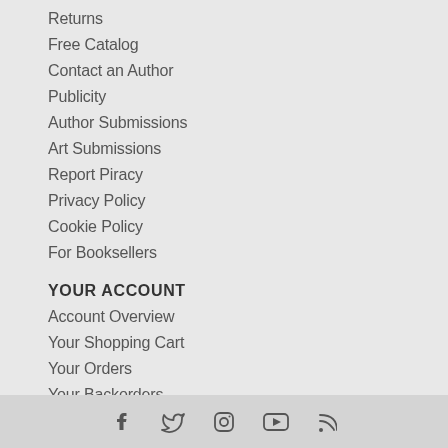Returns
Free Catalog
Contact an Author
Publicity
Author Submissions
Art Submissions
Report Piracy
Privacy Policy
Cookie Policy
For Booksellers
YOUR ACCOUNT
Account Overview
Your Shopping Cart
Your Orders
Your Backorders
Your Returns
Change Your Password
Change Your Address
[Figure (infographic): Social media icons: Facebook, Twitter, Instagram, YouTube, RSS feed]